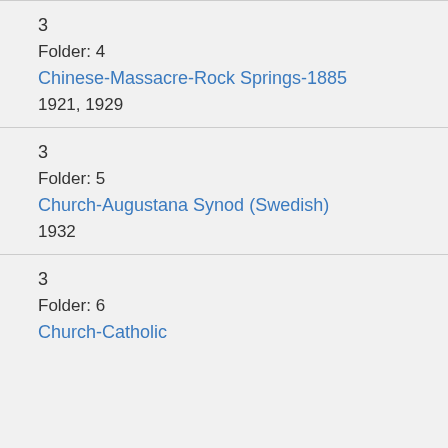3
Folder: 4
Chinese-Massacre-Rock Springs-1885
1921, 1929
3
Folder: 5
Church-Augustana Synod (Swedish)
1932
3
Folder: 6
Church-Catholic